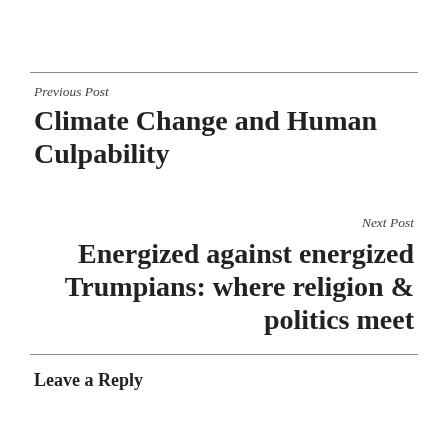Previous Post
Climate Change and Human Culpability
Next Post
Energized against energized Trumpians: where religion & politics meet
Leave a Reply